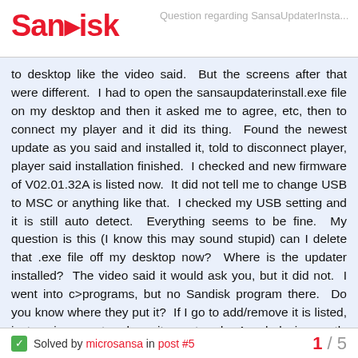SanDisk — Question regarding SansaUpdaterInsta...
to desktop like the video said.  But the screens after that were different.  I had to open the sansaupdaterinstall.exe file on my desktop and then it asked me to agree, etc, then to connect my player and it did its thing.  Found the newest update as you said and installed it, told to disconnect player, player said installation finished.  I checked and new firmware of V02.01.32A is listed now.  It did not tell me to change USB to MSC or anything like that.  I checked my USB setting and it is still auto detect.  Everything seems to be fine.  My question is this (I know this may sound stupid) can I delete that .exe file off my desktop now?  Where is the updater installed?  The video said it would ask you, but it did not.  I went into c>programs, but no Sandisk program there.  Do you know where they put it?  If I go to add/remove it is listed, just curious as to where it as stored.  Any help is greatly appreciated, I am a 58 year old grandma and new to this stuff.  Thanks again, Happy Passover/Easter.   Aliza
Solved by microsansa in post #5   1 / 5